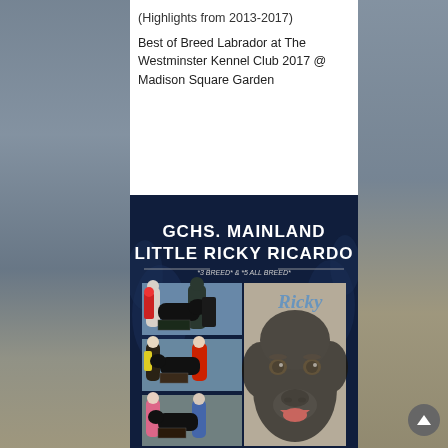(Highlights from 2013-2017)
Best of Breed Labrador at The Westminster Kennel Club 2017 @ Madison Square Garden
[Figure (photo): Dog show promotional poster for GCHS. Mainland Little Ricky Ricardo, a black Labrador Retriever. Dark navy blue background with decorative floral elements. Title reads 'GCHS. MAINLAND LITTLE RICKY RICARDO' with subtitle '*3 BREED* & *5 ALL BREED*'. Left side shows three stacked photos of the dog at shows with handlers. Right side shows a large close-up portrait of the black Labrador with 'Ricky' written in blue cursive script.]